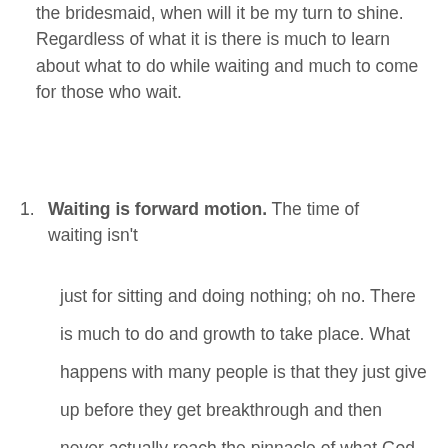the bridesmaid, when will it be my turn to shine. Regardless of what it is there is much to learn about what to do while waiting and much to come for those who wait.
Waiting is forward motion. The time of waiting isn't just for sitting and doing nothing; oh no. There is much to do and growth to take place. What happens with many people is that they just give up before they get breakthrough and then never actually reach the pinnacle of what God has for them. It's sad to see because I bet many Believers would be living more fulfilling lives if only they went forward with God instead of ringing out to date and settle for the wrong person, job; life. Imagine if